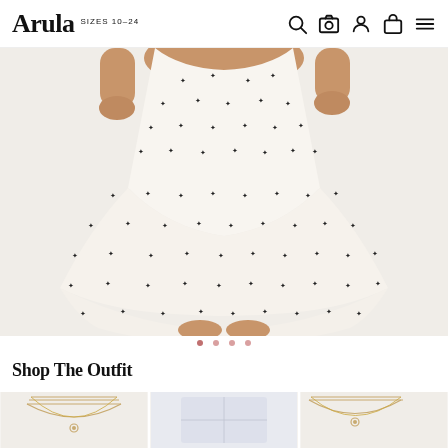Arula SIZES 10–24
[Figure (photo): Close-up of a model wearing a white skater-style minidress with small black star/dot print, skirt flared outward, white background]
Shop The Outfit
[Figure (photo): Three cropped product thumbnail images: jewelry/necklace items and a light-colored clothing item, partially visible]